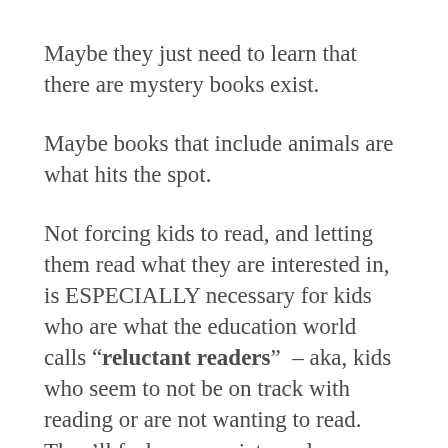Maybe they just need to learn that there are mystery books exist.
Maybe books that include animals are what hits the spot.
Not forcing kids to read, and letting them read what they are interested in, is ESPECIALLY necessary for kids who are what the education world calls “reluctant readers” – aka, kids who seem to not be on track with reading or are not wanting to read. They’ll feel your anxiety and frustration, which will only make their reading experience more stressful.